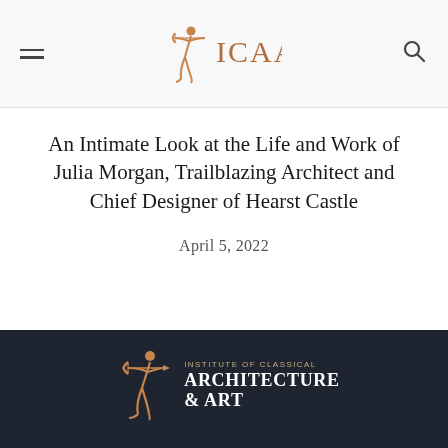ICAA — Institute of Classical Architecture & Art navigation header
An Intimate Look at the Life and Work of Julia Morgan, Trailblazing Architect and Chief Designer of Hearst Castle
April 5, 2022
[Figure (logo): Institute of Classical Architecture & Art logo — archer figure in bronze/gold with text 'INSTITUTE OF CLASSICAL ARCHITECTURE & ART']
© 2020 Institute of Classical Architecture & Art. All rights reserved. 20 West 44th Street, Suite 310, New York, NY 10036     Terms of Use     Privacy Policy